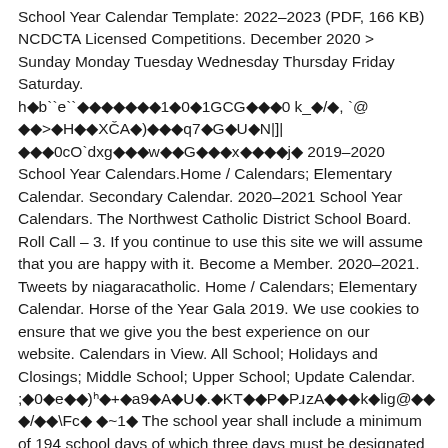School Year Calendar Template: 2022-2023 (PDF, 166 KB) NCDCTA Licensed Competitions. December 2020 > Sunday Monday Tuesday Wednesday Thursday Friday Saturday. h�bˋeˋ�������1�0�1GCG���0 k_�/�, `@ ��>�H��XČA�)���q7�G�U�N|]| ���0cO`dxg���w��G���x����j� 2019-2020 School Year Calendars.Home / Calendars; Elementary Calendar. Secondary Calendar. 2020-2021 School Year Calendars. The Northwest Catholic District School Board. Roll Call - 3. If you continue to use this site we will assume that you are happy with it. Become a Member. 2020-2021. Tweets by niagaracatholic. Home / Calendars; Elementary Calendar. Horse of the Year Gala 2019. We use cookies to ensure that we give you the best experience on our website. Calendars in View. All School; Holidays and Closings; Middle School; Upper School; Update Calendar. ;�0�e��)ʰ�+�a9�A�U�.�KT��P�PɹzA���k�lig@���/��\Fc� �~1� The school year shall include a minimum of 194 school days of which three days must be designated